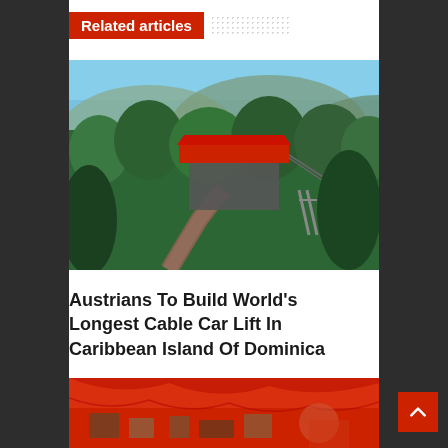Related articles
[Figure (photo): Aerial rendering of a cable car station with a red roof surrounded by dense tropical forest, with cable car lines extending into the distance and mountains in the background]
Austrians To Build World's Longest Cable Car Lift In Caribbean Island Of Dominica
[Figure (photo): Partial view of a red tent or awning with objects visible underneath, appearing to be an outdoor market or event scene]